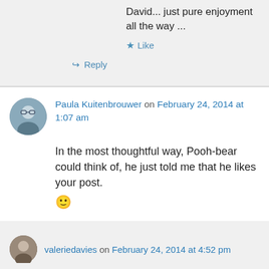David... just pure enjoyment all the way ...
Like
↪ Reply
Paula Kuitenbrouwer on February 24, 2014 at 1:07 am
In the most thoughtful way, Pooh-bear could think of, he just told me that he likes your post. 🙂
Like
↪ Reply
valeriedavies on February 24, 2014 at 4:52 pm